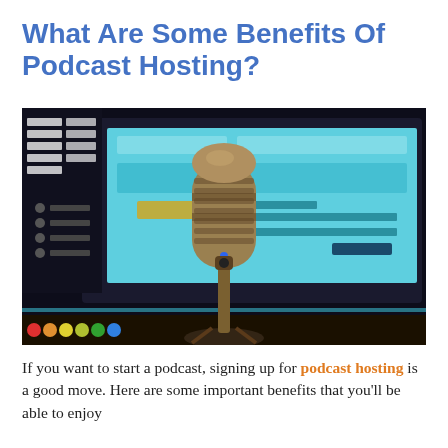What Are Some Benefits Of Podcast Hosting?
[Figure (photo): A vintage-style microphone in the foreground with a blurred computer monitor showing a podcast recording interface in the background. Dark studio environment with colorful taskbar visible at the bottom.]
If you want to start a podcast, signing up for podcast hosting is a good move. Here are some important benefits that you'll be able to enjoy